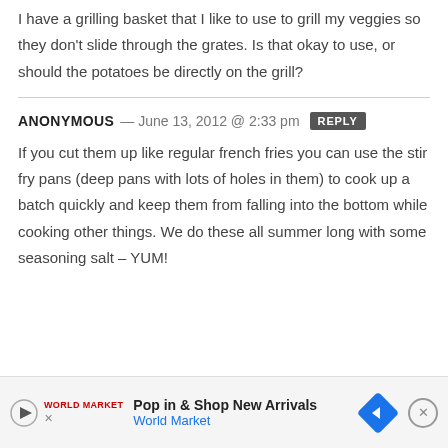I have a grilling basket that I like to use to grill my veggies so they don't slide through the grates. Is that okay to use, or should the potatoes be directly on the grill?
ANONYMOUS — June 13, 2012 @ 2:33 pm  REPLY
If you cut them up like regular french fries you can use the stir fry pans (deep pans with lots of holes in them) to cook up a batch quickly and keep them from falling into the bottom while cooking other things. We do these all summer long with some seasoning salt – YUM!
[Figure (other): Advertisement banner for World Market: 'Pop in & Shop New Arrivals' with play button icon, World Market logo, diamond-shaped navigation icon, and close button.]